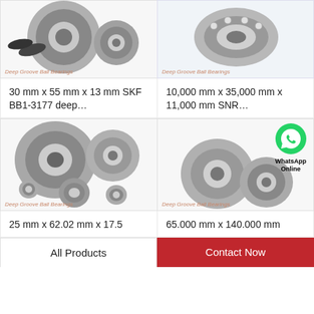[Figure (photo): Deep Groove Ball Bearings product photo - multiple bearings, top left]
Deep Groove Ball Bearings
[Figure (photo): Deep Groove Ball Bearings product photo - single bearing, top right]
Deep Groove Ball Bearings
30 mm x 55 mm x 13 mm SKF BB1-3177 deep…
10,000 mm x 35,000 mm x 11,000 mm SNR…
[Figure (photo): Deep Groove Ball Bearings product photo - assorted bearings, bottom left]
Deep Groove Ball Bearings
[Figure (photo): Deep Groove Ball Bearings product photo with WhatsApp Online badge, bottom right]
Deep Groove Ball Bearings
25 mm x 62.02 mm x 17.5
65.000 mm x 140.000 mm
All Products
Contact Now